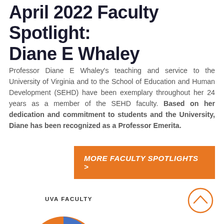April 2022 Faculty Spotlight: Diane E Whaley
Professor Diane E Whaley's teaching and service to the University of Virginia and to the School of Education and Human Development (SEHD) have been exemplary throughout her 24 years as a member of the SEHD faculty. Based on her dedication and commitment to students and the University, Diane has been recognized as a Professor Emerita.
MORE FACULTY SPOTLIGHTS >
UVA FACULTY
[Figure (pie-chart): Partial pie chart showing UVA Faculty composition, with orange and blue segments visible at bottom of page]